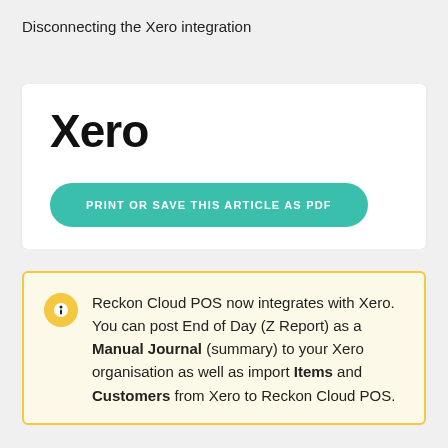Disconnecting the Xero integration
Xero
[Figure (other): Green rounded button labeled PRINT OR SAVE THIS ARTICLE AS PDF]
Reckon Cloud POS now integrates with Xero. You can post End of Day (Z Report) as a Manual Journal (summary) to your Xero organisation as well as import Items and Customers from Xero to Reckon Cloud POS.